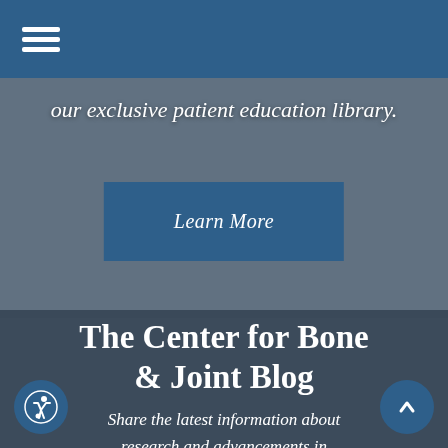☰ (hamburger menu)
our exclusive patient education library.
Learn More
The Center for Bone & Joint Blog
Share the latest information about research and advancements in orthopedics and keep up with news about our practice with The Center for Bone & Joint, the practice's collection of